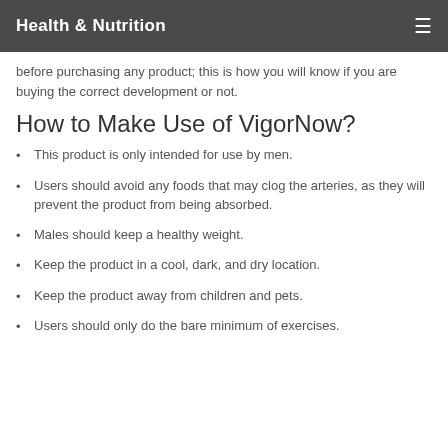Health & Nutrition
before purchasing any product; this is how you will know if you are buying the correct development or not.
How to Make Use of VigorNow?
This product is only intended for use by men.
Users should avoid any foods that may clog the arteries, as they will prevent the product from being absorbed.
Males should keep a healthy weight.
Keep the product in a cool, dark, and dry location.
Keep the product away from children and pets.
Users should only do the bare minimum of exercises.